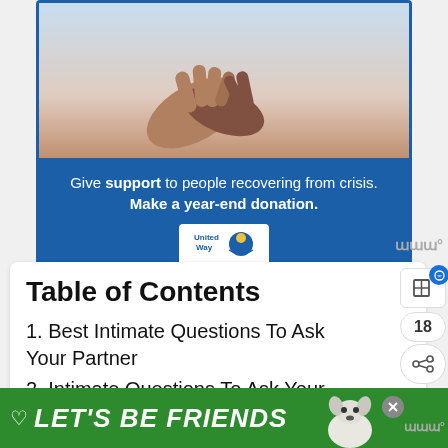[Figure (photo): Advertisement banner with two hands holding each other against a light sky background. United Way donation banner below with text.]
Give support to people recovering from crisis. Make a year-end donation.
[Figure (logo): United Way logo]
Table of Contents
1. Best Intimate Questions To Ask Your Partner
2. Intimate Questions To Ask Your Partner About The Past
3. Intimate Questions To Ask Your Partner
[Figure (photo): What's Next promo: 200 Deep Questions F... with thumbnail photo]
[Figure (photo): Bottom ad banner: LET'S BE FRIENDS with dog illustration]